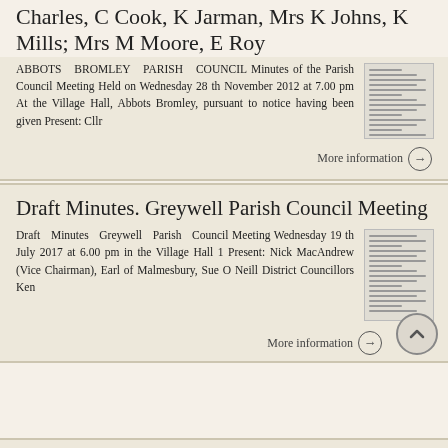Charles, C Cook, K Jarman, Mrs K Johns, K Mills; Mrs M Moore, E Roy
ABBOTS BROMLEY PARISH COUNCIL Minutes of the Parish Council Meeting Held on Wednesday 28 th November 2012 at 7.00 pm At the Village Hall, Abbots Bromley, pursuant to notice having been given Present: Cllr
More information
Draft Minutes. Greywell Parish Council Meeting
Draft Minutes Greywell Parish Council Meeting Wednesday 19 th July 2017 at 6.00 pm in the Village Hall 1 Present: Nick MacAndrew (Vice Chairman), Earl of Malmesbury, Sue O Neill District Councillors Ken
More information